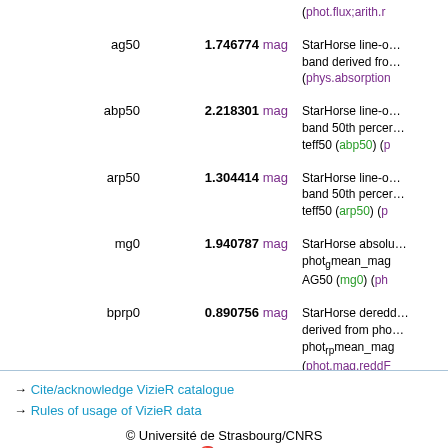| Name | Value | Description |
| --- | --- | --- |
|  | (phot.flux;arith.r… |  |
| ag50 | 1.746774 mag | StarHorse line-o… band derived fro… (phys.absorption… |
| abp50 | 2.218301 mag | StarHorse line-o… band 50th percer… teff50 (abp50) (p… |
| arp50 | 1.304414 mag | StarHorse line-o… band 50th percer… teff50 (arp50) (p… |
| mg0 | 1.940787 mag | StarHorse absolu… phot_g mean_mag… AG50 (mg0) (ph… |
| bprp0 | 0.890756 mag | StarHorse deredd… derived from pho… phot_rp mean_mag… (phot.mag.reddF… |
→ Cite/acknowledge VizieR catalogue
→ Rules of usage of VizieR data
© Université de Strasbourg/CNRS
Contact